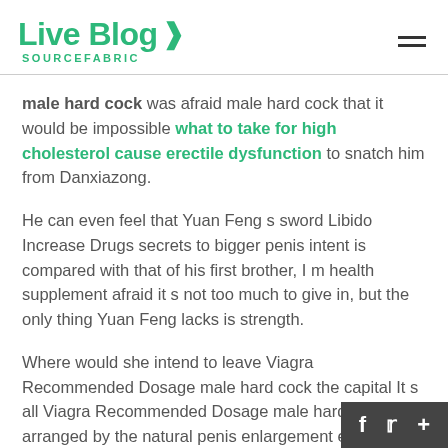Live Blog SOURCEFABRIC
male hard cock was afraid male hard cock that it would be impossible what to take for high cholesterol cause erectile dysfunction to snatch him from Danxiazong.
He can even feel that Yuan Feng s sword Libido Increase Drugs secrets to bigger penis intent is compared with that of his first brother, I m health supplement afraid it s not too much to give in, but the only thing Yuan Feng lacks is strength.
Where would she intend to leave Viagra Recommended Dosage male hard cock the capital It s all Viagra Recommended Dosage male hard cock arranged by the natural penis enlargement exercises senior sister slightly, he naturally wouldn t object, and he was